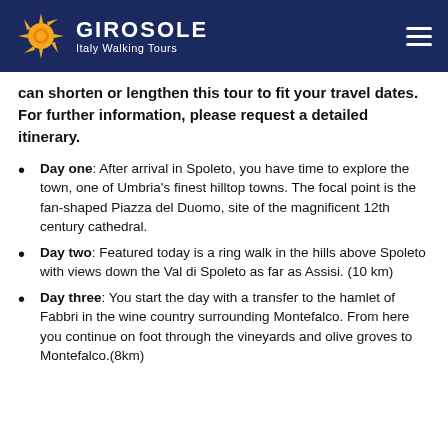GIROSOLE Italy Walking Tours
can shorten or lengthen this tour to fit your travel dates. For further information, please request a detailed itinerary.
Day one: After arrival in Spoleto, you have time to explore the town, one of Umbria's finest hilltop towns. The focal point is the fan-shaped Piazza del Duomo, site of the magnificent 12th century cathedral.
Day two: Featured today is a ring walk in the hills above Spoleto with views down the Val di Spoleto as far as Assisi. (10 km)
Day three: You start the day with a transfer to the hamlet of Fabbri in the wine country surrounding Montefalco. From here you continue on foot through the vineyards and olive groves to Montefalco.(8km)